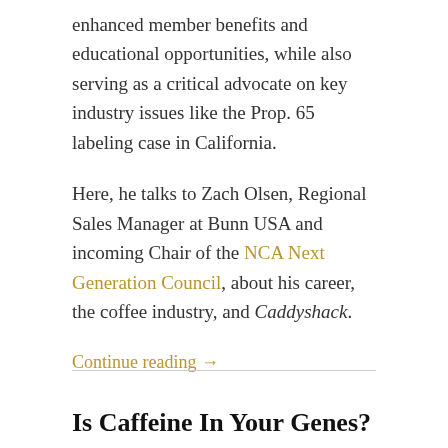enhanced member benefits and educational opportunities, while also serving as a critical advocate on key industry issues like the Prop. 65 labeling case in California.
Here, he talks to Zach Olsen, Regional Sales Manager at Bunn USA and incoming Chair of the NCA Next Generation Council, about his career, the coffee industry, and Caddyshack.
Continue reading →
Is Caffeine In Your Genes?